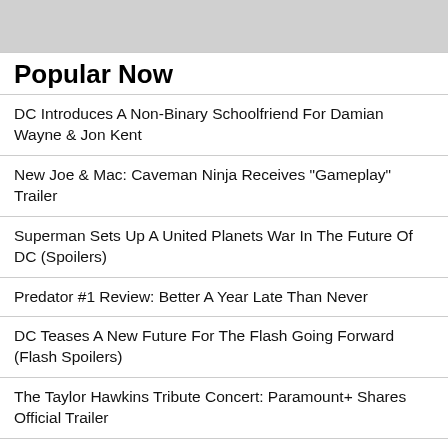[Figure (other): Gray banner/advertisement area at top of page]
Popular Now
DC Introduces A Non-Binary Schoolfriend For Damian Wayne & Jon Kent
New Joe & Mac: Caveman Ninja Receives "Gameplay" Trailer
Superman Sets Up A United Planets War In The Future Of DC (Spoilers)
Predator #1 Review: Better A Year Late Than Never
DC Teases A New Future For The Flash Going Forward (Flash Spoilers)
The Taylor Hawkins Tribute Concert: Paramount+ Shares Official Trailer
X-Force #31 Preview: Huntin' Makes Him Feel Good
Teen Wolf: The Movie Mini Teaser Debuts During MTV